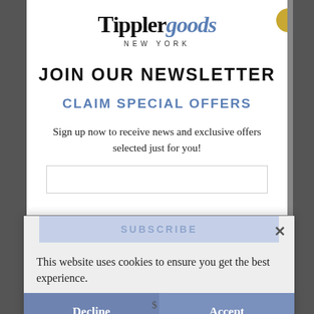[Figure (logo): Tippler goods NEW YORK logo with black serif text and blue italic 'goods']
JOIN OUR NEWSLETTER
CLAIM SPECIAL OFFERS
Sign up now to receive news and exclusive offers selected just for you!
This website uses cookies to ensure you get the best experience.
SUBSCRIBE
Decline
Accept